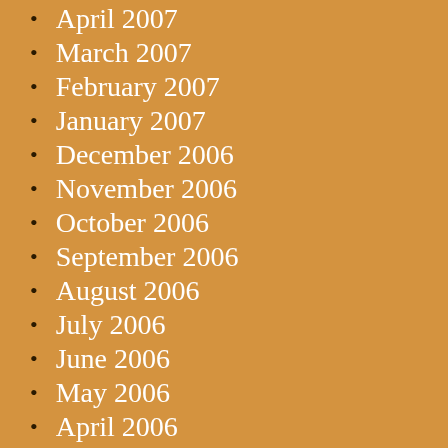April 2007
March 2007
February 2007
January 2007
December 2006
November 2006
October 2006
September 2006
August 2006
July 2006
June 2006
May 2006
April 2006
March 2006
February 2006
January 2006
December 2005